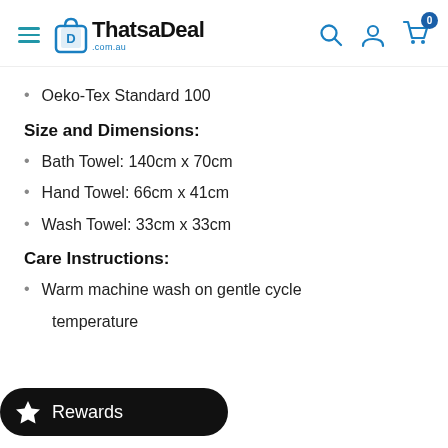ThatsaDeal.com.au
Oeko-Tex Standard 100
Size and Dimensions:
Bath Towel: 140cm x 70cm
Hand Towel: 66cm x 41cm
Wash Towel: 33cm x 33cm
Care Instructions:
Warm machine wash on gentle cycle
temperature
Do not bleach